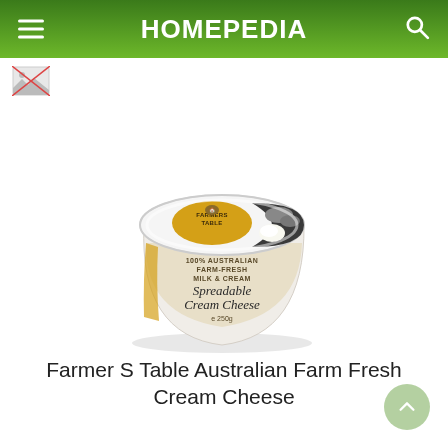HOMEPEDIA
[Figure (photo): Farmer S Table Australian Farm Fresh Spreadable Cream Cheese in a white tub with gold/beige label, top-down angled view showing lid with brand logo and product image of mushrooms and cream cheese]
Farmer S Table Australian Farm Fresh Cream Cheese